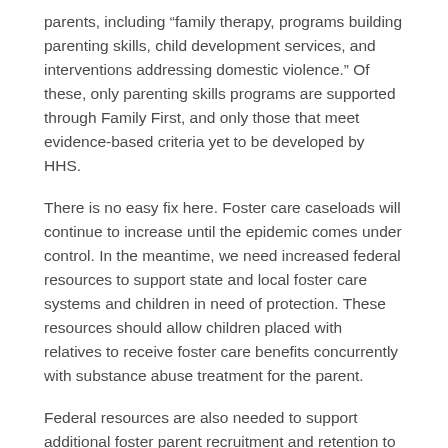parents, including “family therapy, programs building parenting skills, child development services, and interventions addressing domestic violence.” Of these, only parenting skills programs are supported through Family First, and only those that meet evidence-based criteria yet to be developed by HHS.
There is no easy fix here. Foster care caseloads will continue to increase until the epidemic comes under control. In the meantime, we need increased federal resources to support state and local foster care systems and children in need of protection. These resources should allow children placed with relatives to receive foster care benefits concurrently with substance abuse treatment for the parent.
Federal resources are also needed to support additional foster parent recruitment and retention to address the shortage of foster family homes. Federal funds are needed to support workforce training and